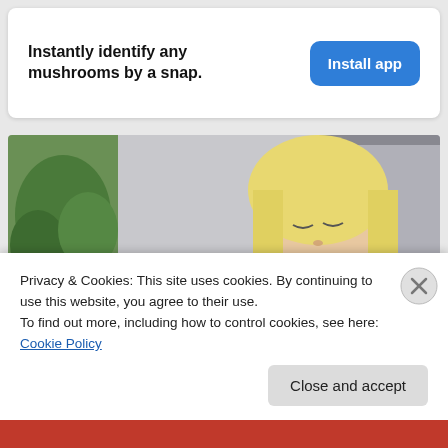Instantly identify any mushrooms by a snap.
Install app
[Figure (photo): Woman with blonde hair wearing a yellow knit sweater, looking down at her elbow/arm, seated on a couch with a plant in the background.]
Privacy & Cookies: This site uses cookies. By continuing to use this website, you agree to their use.
To find out more, including how to control cookies, see here: Cookie Policy
Close and accept